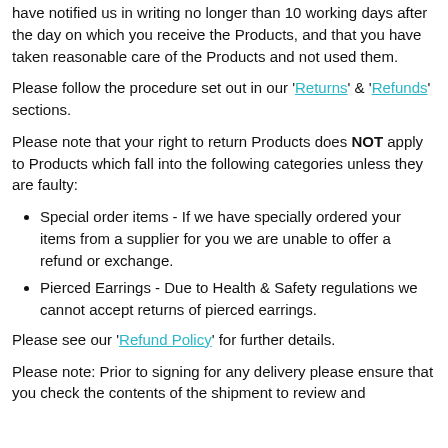have notified us in writing no longer than 10 working days after the day on which you receive the Products, and that you have taken reasonable care of the Products and not used them.
Please follow the procedure set out in our 'Returns' & 'Refunds' sections.
Please note that your right to return Products does NOT apply to Products which fall into the following categories unless they are faulty:
Special order items - If we have specially ordered your items from a supplier for you we are unable to offer a refund or exchange.
Pierced Earrings - Due to Health & Safety regulations we cannot accept returns of pierced earrings.
Please see our 'Refund Policy' for further details.
Please note: Prior to signing for any delivery please ensure that you check the contents of the shipment to review and